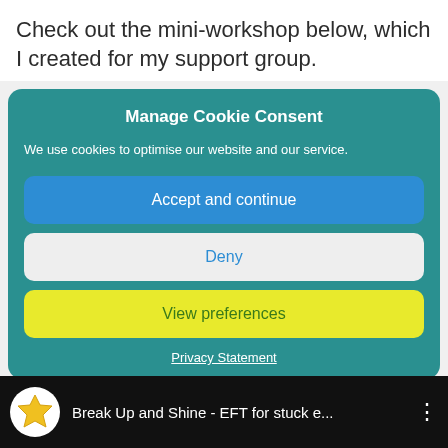Check out the mini-workshop below, which I created for my support group.
Manage Cookie Consent
We use cookies to optimise our website and our service.
Accept and continue
Deny
View preferences
Privacy Statement
[Figure (screenshot): Video thumbnail bar showing YouTube-style video player with star logo and title 'Break Up and Shine - EFT for stuck e...' on dark background]